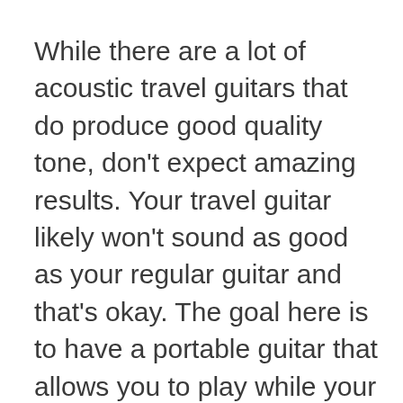While there are a lot of acoustic travel guitars that do produce good quality tone, don't expect amazing results. Your travel guitar likely won't sound as good as your regular guitar and that's okay. The goal here is to have a portable guitar that allows you to play while your away. So there's nothing wrong with giving up some sound quality if it means you can take a guitar with